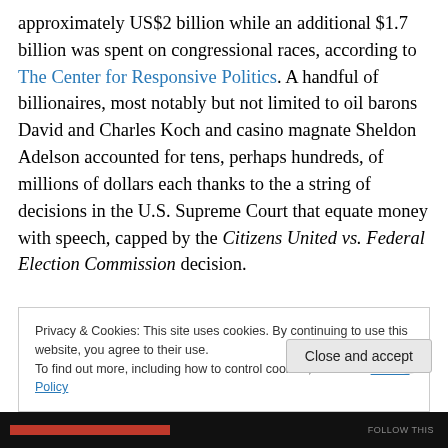approximately US$2 billion while an additional $1.7 billion was spent on congressional races, according to The Center for Responsive Politics. A handful of billionaires, most notably but not limited to oil barons David and Charles Koch and casino magnate Sheldon Adelson accounted for tens, perhaps hundreds, of millions of dollars each thanks to the a string of decisions in the U.S. Supreme Court that equate money with speech, capped by the Citizens United vs. Federal Election Commission decision.
Privacy & Cookies: This site uses cookies. By continuing to use this website, you agree to their use. To find out more, including how to control cookies, see here: Cookie Policy